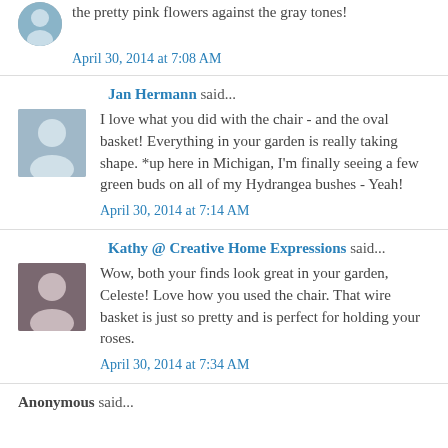the pretty pink flowers against the gray tones!
April 30, 2014 at 7:08 AM
Jan Hermann said...
I love what you did with the chair - and the oval basket! Everything in your garden is really taking shape. *up here in Michigan, I'm finally seeing a few green buds on all of my Hydrangea bushes - Yeah!
April 30, 2014 at 7:14 AM
Kathy @ Creative Home Expressions said...
Wow, both your finds look great in your garden, Celeste! Love how you used the chair. That wire basket is just so pretty and is perfect for holding your roses.
April 30, 2014 at 7:34 AM
Anonymous said...